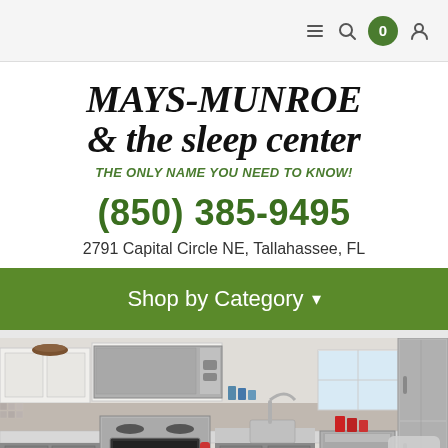0
MAYS-MUNROE & the sleep center
THE ONLY NAME YOU NEED TO KNOW!
(850) 385-9495
2791 Capital Circle NE, Tallahassee, FL
Shop by Category
[Figure (photo): Kitchen scene with stainless steel appliances, gray lower cabinets, white upper cabinets, mosaic tile backsplash, refrigerator on right, stove and microwave visible]